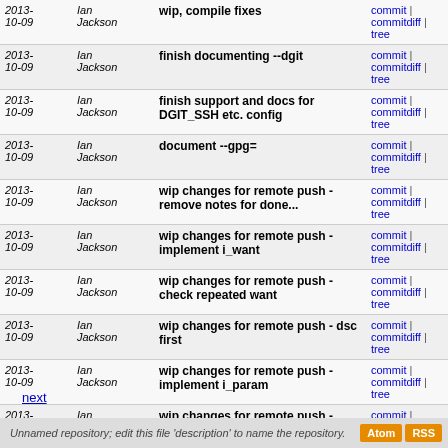| Date | Author | Message | Links |
| --- | --- | --- | --- |
| 2013-10-09 | Ian Jackson | wip, compile fixes | commit | commitdiff | tree |
| 2013-10-09 | Ian Jackson | finish documenting --dgit | commit | commitdiff | tree |
| 2013-10-09 | Ian Jackson | finish support and docs for DGIT_SSH etc. config | commit | commitdiff | tree |
| 2013-10-09 | Ian Jackson | document --gpg= | commit | commitdiff | tree |
| 2013-10-09 | Ian Jackson | wip changes for remote push - remove notes for done... | commit | commitdiff | tree |
| 2013-10-09 | Ian Jackson | wip changes for remote push - implement i_want | commit | commitdiff | tree |
| 2013-10-09 | Ian Jackson | wip changes for remote push - check repeated want | commit | commitdiff | tree |
| 2013-10-09 | Ian Jackson | wip changes for remote push - dsc first | commit | commitdiff | tree |
| 2013-10-09 | Ian Jackson | wip changes for remote push - implement i_param | commit | commitdiff | tree |
| 2013-10-09 | Ian Jackson | wip changes for remote push - split off sign_changes | commit | commitdiff | tree |
| 2013-10-09 | Ian Jackson | wip changes for remote push - implement i_localname_* | commit | commitdiff | tree |
next
Unnamed repository; edit this file 'description' to name the repository.